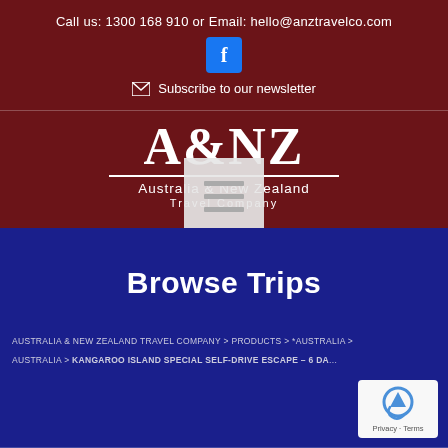Call us: 1300 168 910 or Email: hello@anztravelco.com
[Figure (logo): Facebook icon - blue square with white f]
Subscribe to our newsletter
A&NZ
Australia & New Zealand
Travel Company
[Figure (other): Hamburger menu icon - three horizontal lines in a light grey box]
Browse Trips
AUSTRALIA & NEW ZEALAND TRAVEL COMPANY > PRODUCTS > *AUSTRALIA > AUSTRALIA > KANGAROO ISLAND SPECIAL SELF-DRIVE ESCAPE – 6 DA...